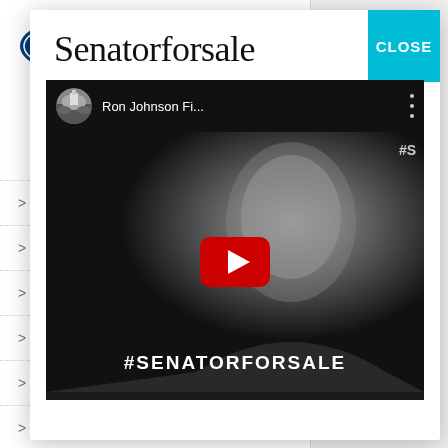[Figure (logo): Citizen Action of Wisconsin logo - oval shape with text CITIZEN ACTION OF WISCONSIN]
> January 2020
> December 20
> November 20
> October 2019
> September 2
> August 2019
> July 2019
> June 2019
Senatorforsale
[Figure (screenshot): YouTube video thumbnail showing Ron Johnson Fi... title, with a black and white photo of an older man and the text #SENATORFORSALE overlaid. Red YouTube play button visible in center. A circular thumbnail of a crowd at a capitol building in top left.]